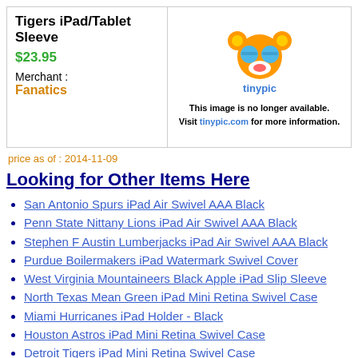Tigers iPad/Tablet Sleeve  $23.95
Merchant : Fanatics
[Figure (photo): Tinypic placeholder image with logo and text: 'This image is no longer available. Visit tinypic.com for more information.']
price as of : 2014-11-09
Looking for Other Items Here
San Antonio Spurs iPad Air Swivel AAA Black
Penn State Nittany Lions iPad Air Swivel AAA Black
Stephen F Austin Lumberjacks iPad Air Swivel AAA Black
Purdue Boilermakers iPad Watermark Swivel Cover
West Virginia Mountaineers Black Apple iPad Slip Sleeve
North Texas Mean Green iPad Mini Retina Swivel Case
Miami Hurricanes iPad Holder - Black
Houston Astros iPad Mini Retina Swivel Case
Detroit Tigers iPad Mini Retina Swivel Case
New York Yankees Dooney & Bourke iPad Mini Case -